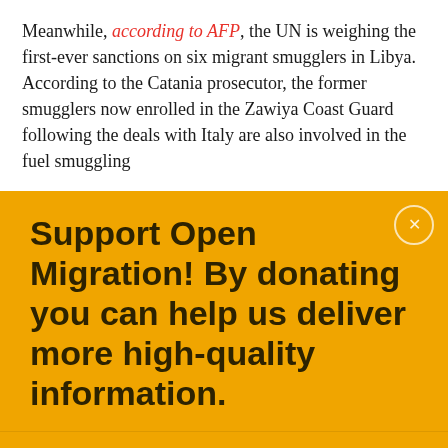Meanwhile, according to AFP, the UN is weighing the first-ever sanctions on six migrant smugglers in Libya. According to the Catania prosecutor, the former smugglers now enrolled in the Zawiya Coast Guard following the deals with Italy are also involved in the fuel smuggling
Support Open Migration! By donating you can help us deliver more high-quality information.
This website uses cookies anonymously and exclusively for technical and statistical purposes. Disabling technical cookies may have unexpected effects on the page display mode.
OK
COOKIE POLICY